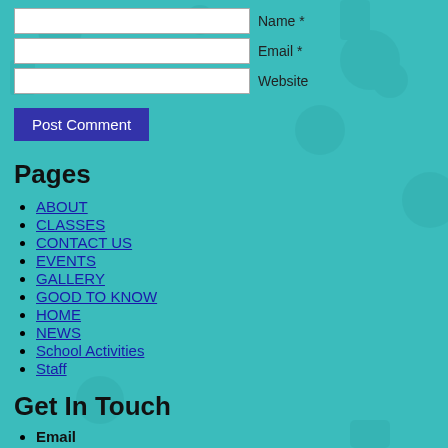Name *
Email *
Website
Post Comment
Pages
ABOUT
CLASSES
CONTACT US
EVENTS
GALLERY
GOOD TO KNOW
HOME
NEWS
School Activities
Staff
Get In Touch
Email lindiwecare@gmail.com